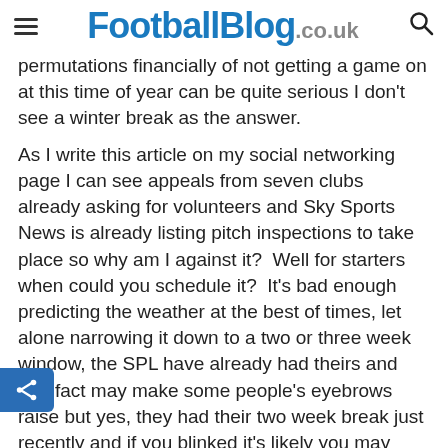FootballBlog.co.uk
permutations financially of not getting a game on at this time of year can be quite serious I don't see a winter break as the answer.
As I write this article on my social networking page I can see appeals from seven clubs already asking for volunteers and Sky Sports News is already listing pitch inspections to take place so why am I against it?  Well for starters when could you schedule it?  It's bad enough predicting the weather at the best of times, let alone narrowing it down to a two or three week window, the SPL have already had theirs and that fact may make some people's eyebrows raise but yes, they had their two week break just recently and if you blinked it's likely you may have missed it.  Just because the FA Say it is likely to be